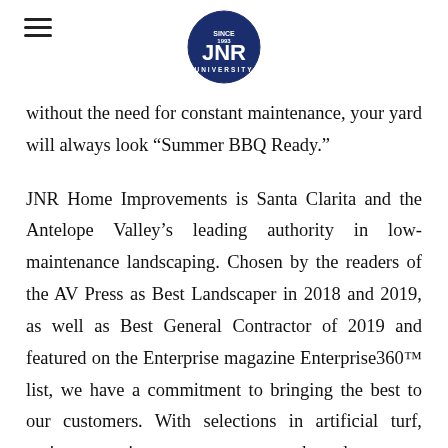JNR logo and hamburger menu
without the need for constant maintenance, your yard will always look “Summer BBQ Ready.”
JNR Home Improvements is Santa Clarita and the Antelope Valley’s leading authority in low-maintenance landscaping. Chosen by the readers of the AV Press as Best Landscaper in 2018 and 2019, as well as Best General Contractor of 2019 and featured on the Enterprise magazine Enterprise360™ list, we have a commitment to bringing the best to our customers. With selections in artificial turf, xeriscape, patio covers, concrete work, and more, we can